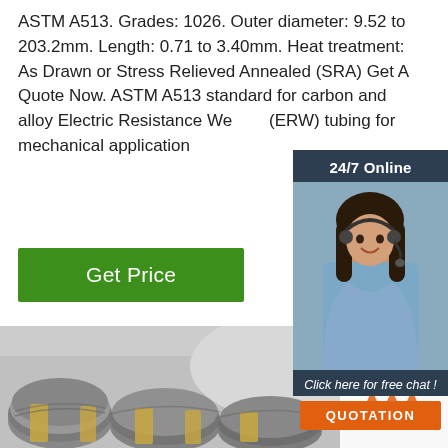ASTM A513. Grades: 1026. Outer diameter: 9.52 to 203.2mm. Length: 0.71 to 3.40mm. Heat treatment: As Drawn or Stress Relieved Annealed (SRA) Get A Quote Now. ASTM A513 standard for carbon and alloy Electric Resistance Welded (ERW) tubing for mechanical application
[Figure (other): Green 'Get Price' button]
[Figure (other): 24/7 Online chat widget with female customer service representative photo, 'Click here for free chat!' text, and orange QUOTATION button]
[Figure (photo): Industrial photo of steel wire rod coils bundled with yellow strapping in a warehouse or factory setting]
[Figure (logo): TOP logo with orange diamond/arrow icons above the word TOP in orange]